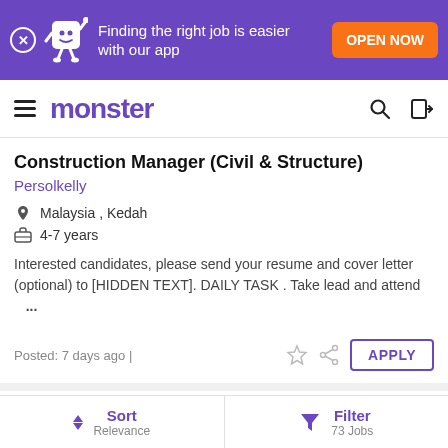[Figure (screenshot): Monster job board app banner: purple background, mascot character, text 'Finding the right job is easier with our app', orange 'OPEN NOW' button]
monster
Construction Manager (Civil & Structure)
Persolkelly
Malaysia , Kedah
4-7 years
Interested candidates, please send your resume and cover letter (optional) to [HIDDEN TEXT]. DAILY TASK . Take lead and attend ...
Posted: 7 days ago |
Test Equipment Technician
Sort Relevance | Filter 73 Jobs